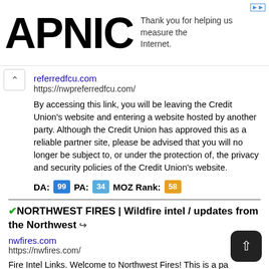[Figure (logo): APNIC logo in large bold black text on the left, with tagline 'Thank you for helping us measure the Internet.' on the right, and a small ad icon in the top-right corner.]
referredfcu.com
https://nwpreferredfcu.com/
By accessing this link, you will be leaving the Credit Union's website and entering a website hosted by another party. Although the Credit Union has approved this as a reliable partner site, please be advised that you will no longer be subject to, or under the protection of, the privacy and security policies of the Credit Union's website.
DA: 99  PA: 34  MOZ Rank: 58
NORTHWEST FIRES | Wildfire intel / updates from the Northwest
nwfires.com
https://nwfires.com/
Fire Intel Links. Welcome to Northwest Fires! This is a page with links to help you find intel on wildfires in the NW area of the USA. REGIONAL BRIEFINGS, OUTLOOKS AND UPDATES. WA DNR Fire Info – Fire and Resource information for WA DNR. NW Daily Briefings – Ti...